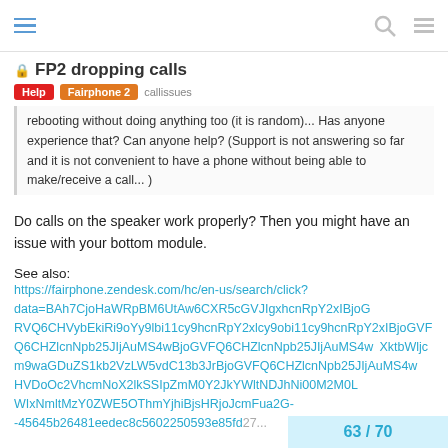FP2 dropping calls — Help | Fairphone 2 | callissues
rebooting without doing anything too (it is random)... Has anyone experience that? Can anyone help? (Support is not answering so far and it is not convenient to have a phone without being able to make/receive a call... )
Do calls on the speaker work properly? Then you might have an issue with your bottom module.
See also:
https://fairphone.zendesk.com/hc/en-us/search/click?data=BAh7CjoHaWRpBM6UtAw6CXR5cGVJIgxhcnRpY2xIBjoGRVQ6CHVybEkiRi9oYy9hcnRpY2xlcy9obi11cy9hcnRpY2xlcy9obi11cy9hcnRpY2xlcy9obi11cy9hcnRpY2xIBjoGVFQ6CHZlcnNpb25JIjAuMS4wBjoGVFQ6CHZlcnNpb25JIjAuMS4wBjoGVFQ6CHZlcnNpb25JIjAuMS4wBjoGVFQ6CHZlcnNpb25JIjAuMS4wBjoGVFQ6CHZlcnNpb25JIjAuMS4wBjoGVFQ6CHZlcnNpb25JIjAuMS4wBjoGVFQ6CHZlcnNpb25JIjAuMS4wBjoGVFQ